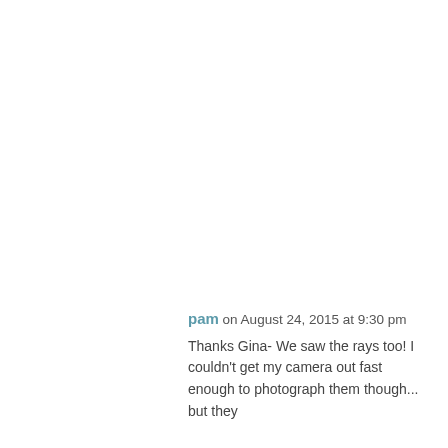pam on August 24, 2015 at 9:30 pm
Thanks Gina- We saw the rays too! I couldn't get my camera out fast enough to photograph them though... but they